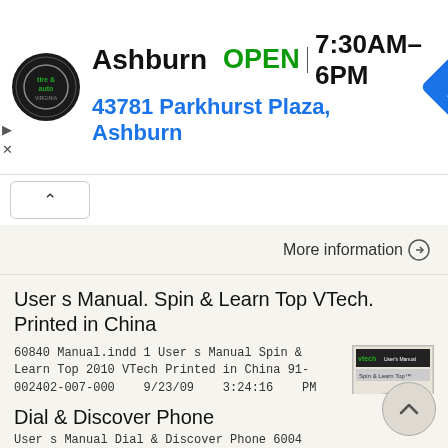[Figure (other): Advertisement banner for Virginia Tire & Auto in Ashburn. Shows logo, OPEN status, hours 7:30AM-6PM, address 43781 Parkhurst Plaza Ashburn, and navigation icon.]
More information ⊙
User s Manual. Spin & Learn Top VTech. Printed in China
60840 Manual.indd 1 User s Manual Spin & Learn Top 2010 VTech Printed in China 91-002402-007-000 9/23/09 3:24:16 PM 60840 Manual.indd 2 9/23/09 3:24:17 PM INTRODUCTION Thank you for purchasing the VTech
More information ⊙
Dial & Discover Phone
User s Manual Dial & Discover Phone 6004...